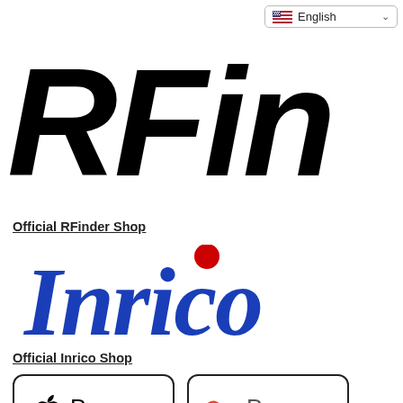[Figure (logo): RFinder logo in large bold black italic text]
Official RFinder Shop
[Figure (logo): Inrico logo in large blue italic serif text with a red dot over the letter i]
Official Inrico Shop
[Figure (other): Apple Pay and Google Pay payment badges side by side]